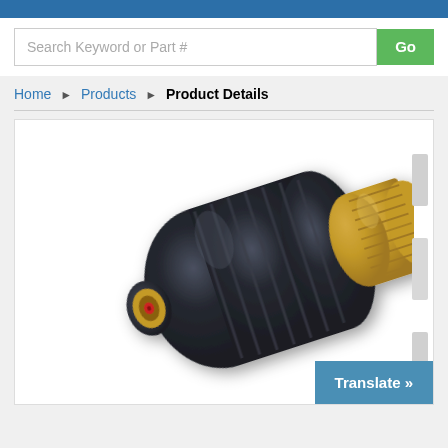Search Keyword or Part #
Go
Home > Products > Product Details
[Figure (photo): A pressure washer rotary turbo nozzle with dark navy/black ribbed plastic body and brass threaded fittings on both ends, with a red orifice tip visible at the front end. The nozzle is elongated bullet-shaped, photographed at an angle against a white background.]
Translate »